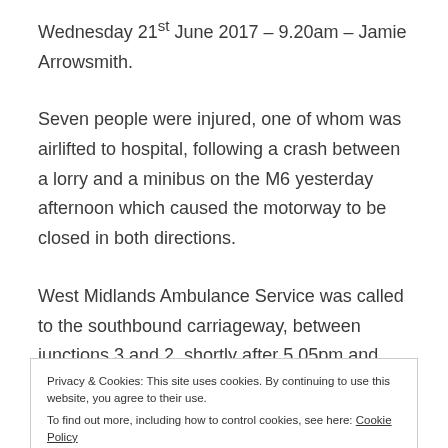Wednesday 21st June 2017 – 9.20am – Jamie Arrowsmith.
Seven people were injured, one of whom was airlifted to hospital, following a crash between a lorry and a minibus on the M6 yesterday afternoon which caused the motorway to be closed in both directions.
West Midlands Ambulance Service was called to the southbound carriageway, between junctions 3 and 2, shortly after 5.05pm and sent two ambulances, a
Privacy & Cookies: This site uses cookies. By continuing to use this website, you agree to their use.
To find out more, including how to control cookies, see here: Cookie Policy
"Crews arrived on scene to find a minibus with front end